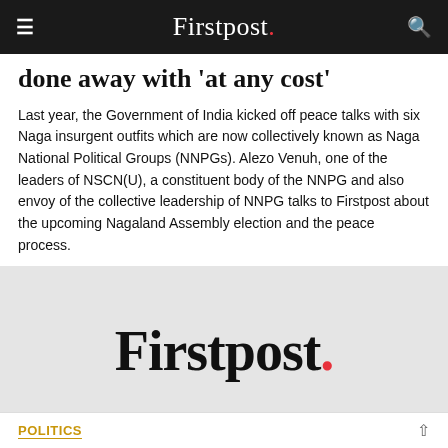Firstpost.
done away with 'at any cost'
Last year, the Government of India kicked off peace talks with six Naga insurgent outfits which are now collectively known as Naga National Political Groups (NNPGs). Alezo Venuh, one of the leaders of NSCN(U), a constituent body of the NNPG and also envoy of the collective leadership of NNPG talks to Firstpost about the upcoming Nagaland Assembly election and the peace process.
[Figure (logo): Firstpost logo — large black serif text 'Firstpost' with a red period, on a light grey background]
POLITICS